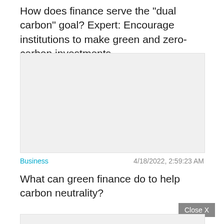How does finance serve the "dual carbon" goal? Expert: Encourage institutions to make green and zero-carbon investments
[Figure (other): Gray placeholder image box (top)]
Business   4/18/2022, 2:59:23 AM
What can green finance do to help carbon neutrality?
[Figure (other): Gray placeholder image box (bottom, partially visible)]